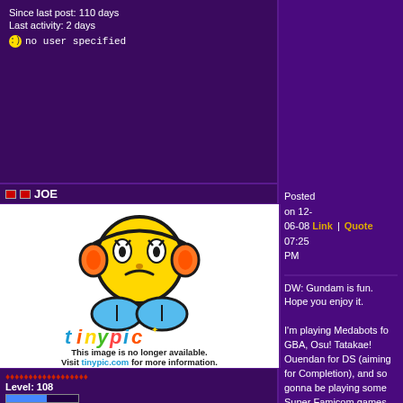Since last post: 110 days
Last activity: 2 days
no user specified
JOE
Posted on 12-06-08 07:25 PM
Link | Quote
[Figure (illustration): TinyPic broken image placeholder showing a sad emoji character with headphones and the tinypic logo. Text reads: This image is no longer available. Visit tinypic.com for more information.]
DW: Gundam is fun. Hope you enjoy it.

I'm playing Medabots for GBA, Osu! Tatakae! Ouendan for DS (aiming for Completion), and so gonna be playing some Super Famicom games that came in the mail not too long ago. Should be fun.
Level: 108
Posts: 2403/3999